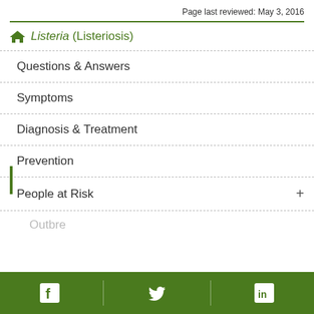Page last reviewed: May 3, 2016
Listeria (Listeriosis)
Questions & Answers
Symptoms
Diagnosis & Treatment
Prevention
People at Risk
Facebook | Twitter | LinkedIn